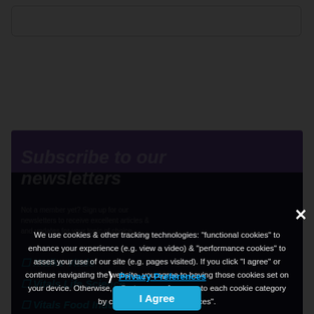[Figure (screenshot): Website page background with top navigation bar, purple subscription banner, and dark newsletter section with checkboxes for Xtalks Vitals, Vitals Life Science, and Vitals Food Industry]
We use cookies & other tracking technologies: "functional cookies" to enhance your experience (e.g. view a video) & "performance cookies" to asses your use of our site (e.g. pages visited). If you click "I agree" or continue navigating the website, you agree to having those cookies set on your device. Otherwise, adjust your preferences to each cookie category by clicking "privacy preferences".
❯ Privacy Preferences
I Agree